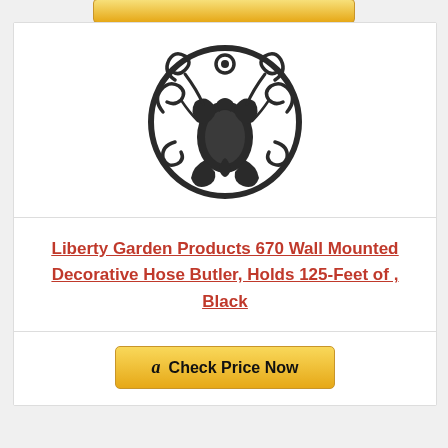[Figure (illustration): Decorative circular wall-mounted hose butler in black wrought iron style with scrollwork design]
Liberty Garden Products 670 Wall Mounted Decorative Hose Butler, Holds 125-Feet of , Black
[Figure (other): Amazon Check Price Now button with Amazon logo]